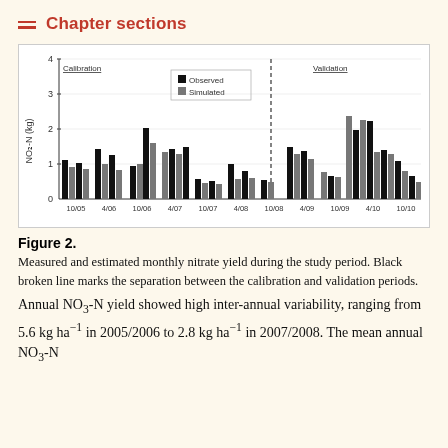Chapter sections
[Figure (grouped-bar-chart): Bar chart showing observed (black) and simulated (grey) monthly NO3-N yield from 10/05 to 10/10, with a dashed vertical line separating calibration and validation periods.]
Figure 2.
Measured and estimated monthly nitrate yield during the study period. Black broken line marks the separation between the calibration and validation periods.
Annual NO3-N yield showed high inter-annual variability, ranging from 5.6 kg ha⁻¹ in 2005/2006 to 2.8 kg ha⁻¹ in 2007/2008. The mean annual NO3-N